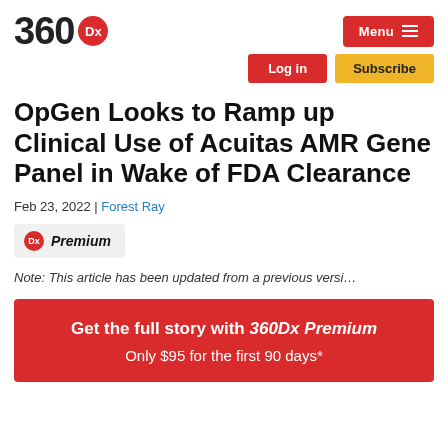[Figure (logo): 360Dx logo with red circle Dx badge]
OpGen Looks to Ramp up Clinical Use of Acuitas AMR Gene Panel in Wake of FDA Clearance
Feb 23, 2022 | Forest Ray
Premium
Note: This article has been updated from a previous versi…
Get the full story with 360Dx Premium
Only $95 for the first 90 days*